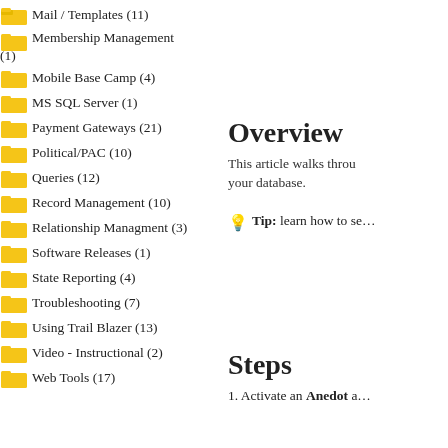Mail / Templates (11)
Membership Management (1)
Mobile Base Camp (4)
MS SQL Server (1)
Payment Gateways (21)
Political/PAC (10)
Queries (12)
Record Management (10)
Relationship Managment (3)
Software Releases (1)
State Reporting (4)
Troubleshooting (7)
Using Trail Blazer (13)
Video - Instructional (2)
Web Tools (17)
Overview
This article walks through your database.
Tip: learn how to se…
Steps
1. Activate an Anedot a…